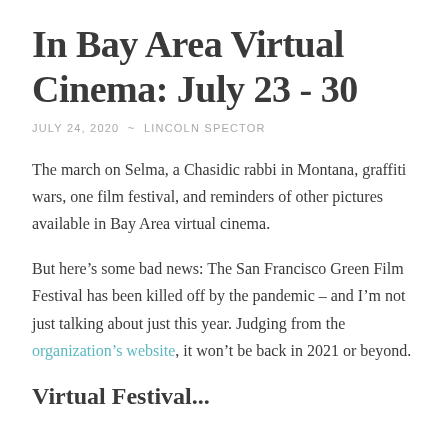In Bay Area Virtual Cinema: July 23 - 30
JULY 24, 2020  ~  LINCOLN SPECTOR
The march on Selma, a Chasidic rabbi in Montana, graffiti wars, one film festival, and reminders of other pictures available in Bay Area virtual cinema.
But here’s some bad news: The San Francisco Green Film Festival has been killed off by the pandemic – and I’m not just talking about just this year. Judging from the organization’s website, it won’t be back in 2021 or beyond.
Virtual Festival...